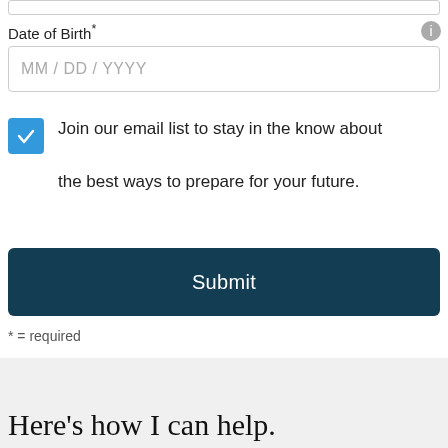Date of Birth*
MM / DD / YYYY
Join our email list to stay in the know about the best ways to prepare for your future.
Submit
* = required
Here's how I can help.